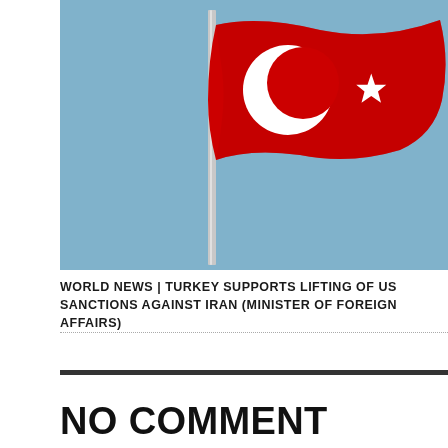[Figure (photo): Turkish flag waving on a pole against a blue sky background. The flag is red with a white crescent moon and white star.]
WORLD NEWS | TURKEY SUPPORTS LIFTING OF US SANCTIONS AGAINST IRAN (MINISTER OF FOREIGN AFFAIRS)
NO COMMENT